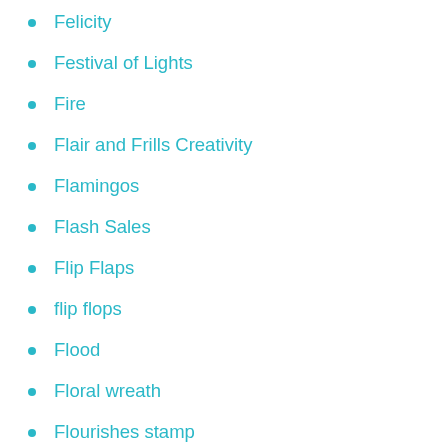Felicity
Festival of Lights
Fire
Flair and Frills Creativity
Flamingos
Flash Sales
Flip Flaps
flip flops
Flood
Floral wreath
Flourishes stamp
flower inserts
flower making
Flower Market cartridge
flowers
foam
football
Forever Yours
fox
frames
friendship card
Frozen